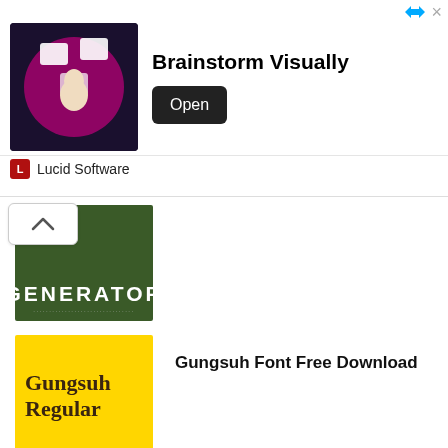[Figure (screenshot): Advertisement banner for Lucid Software - Brainstorm Visually with Open button]
[Figure (illustration): Partial thumbnail showing GENERATOR text on dark green background]
[Figure (illustration): Gungsuh Regular font preview on yellow background]
Gungsuh Font Free Download
[Figure (illustration): Straight Outta Compton Generator font preview on white background]
Straight Outta Compton Font Free Download
Magic The Gathering Font Free Download